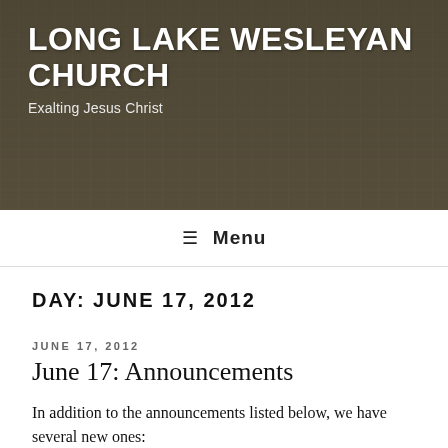[Figure (photo): Header banner background showing an open Bible book with columns of text, overlaid with dark tint]
LONG LAKE WESLEYAN CHURCH
Exalting Jesus Christ
≡ Menu
DAY: JUNE 17, 2012
JUNE 17, 2012
June 17: Announcements
In addition to the announcements listed below, we have several new ones:
Men: Remember the dinner for all men and sons this Wednesday, June 20th at 6:00 PM in the church